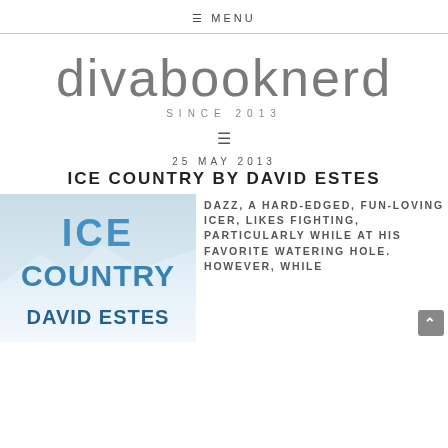≡ MENU
divabooknerd
SINCE 2013
≡
25 MAY 2013
ICE COUNTRY BY DAVID ESTES
[Figure (photo): Book cover for 'Ice Country' by David Estes, featuring icy blue lettering on a wintry background]
DAZZ, A HARD-EDGED, FUN-LOVING ICER, LIKES FIGHTING, PARTICULARLY WHILE AT HIS FAVORITE WATERING HOLE. HOWEVER, WHILE